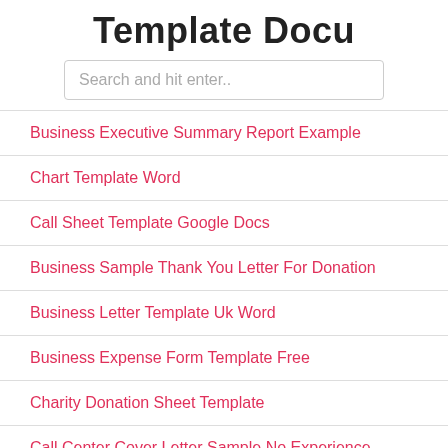Template Docu
Business Executive Summary Report Example
Chart Template Word
Call Sheet Template Google Docs
Business Sample Thank You Letter For Donation
Business Letter Template Uk Word
Business Expense Form Template Free
Charity Donation Sheet Template
Call Center Cover Letter Sample No Experience
Cash Flow Statement Indirect Method Questions And Answers
Case Study Template Pdf